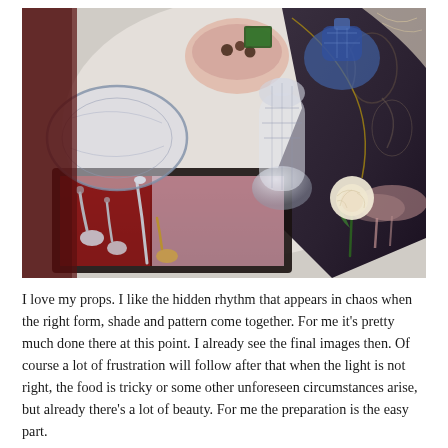[Figure (photo): Overhead view of styled props on a table: ornate silverware in a red-lined jewelry box, a white rose, crystal glassware including a carafe and decorative glasses, a pink bowl with chocolates, a blue bottle, mauve wine glasses, and dark patterned fabric/scarf arranged artistically.]
I love my props. I like the hidden rhythm that appears in chaos when the right form, shade and pattern come together. For me it's pretty much done there at this point. I already see the final images then. Of course a lot of frustration will follow after that when the light is not right, the food is tricky or some other unforeseen circumstances arise, but already there's a lot of beauty. For me the preparation is the easy part.